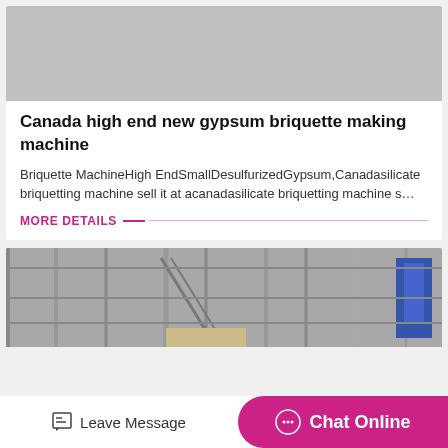[Figure (photo): Gray placeholder image at top of card]
Canada high end new gypsum briquette making machine
Briquette MachineHigh EndSmallDesulfurizedGypsum,Canadasilicate briquetting machine sell it at acanadasilicate briquetting machine s…
MORE DETAILS
[Figure (photo): Industrial facility with steel structures, stairs, and a blue banner sign]
Leave Message   Chat Online